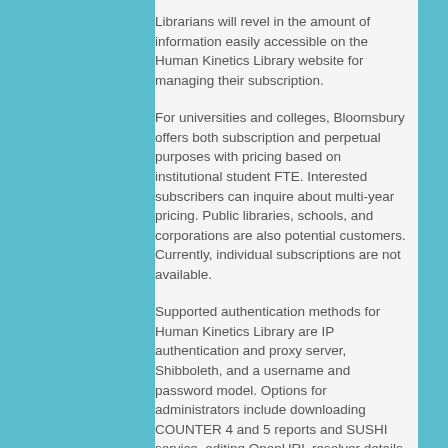Librarians will revel in the amount of information easily accessible on the Human Kinetics Library website for managing their subscription.
For universities and colleges, Bloomsbury offers both subscription and perpetual purposes with pricing based on institutional student FTE. Interested subscribers can inquire about multi-year pricing. Public libraries, schools, and corporations are also potential customers. Currently, individual subscriptions are not available.
Supported authentication methods for Human Kinetics Library are IP authentication and proxy server, Shibboleth, and a username and password model. Options for administrators include downloading COUNTER 4 and 5 reports and SUSHI service, editing OpenURL resolver details, and adding an institutional logo. KBART and MARC records, which are RDA compliant, are provided on the Human Kinetics Library website each time content is updated for painless downloading.